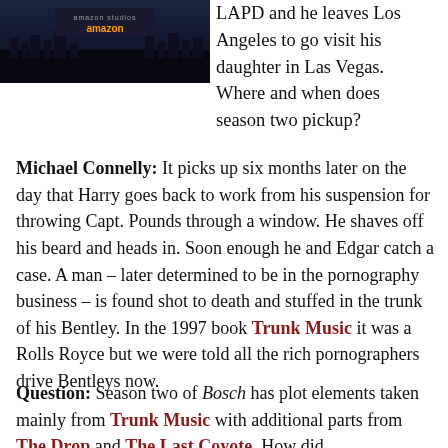[Figure (photo): Amazon logo/banner image with dark city background]
LAPD and he leaves Los Angeles to go visit his daughter in Las Vegas. Where and when does season two pickup?
Michael Connelly: It picks up six months later on the day that Harry goes back to work from his suspension for throwing Capt. Pounds through a window. He shaves off his beard and heads in. Soon enough he and Edgar catch a case. A man – later determined to be in the pornography business – is found shot to death and stuffed in the trunk of his Bentley. In the 1997 book Trunk Music it was a Rolls Royce but we were told all the rich pornographers drive Bentleys now.
Question: Season two of Bosch has plot elements taken mainly from Trunk Music with additional parts from The Drop and The Last Coyote. How did